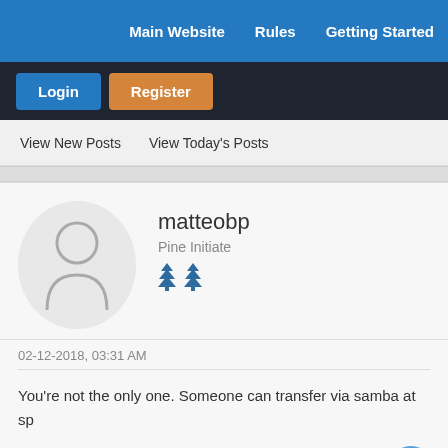Main Website   Rules   Getting Started
Login   Register
View New Posts   View Today's Posts
matteobp
Pine Initiate
02-12-2018, 03:31 AM
You're not the only one. Someone can transfer via samba at sp
This is the result of my last test.
https://forum.pine64.org/showthread.php?...1#pid35291